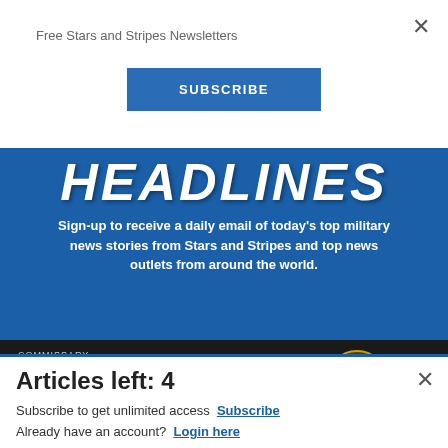Free Stars and Stripes Newsletters
SUBSCRIBE
HEADLINES
Sign-up to receive a daily email of today's top military news stories from Stars and Stripes and top news outlets from around the world.
[Figure (advertisement): Commissary Click2Go advertisement banner with green circular logo and Commissary badge logo, with text 'order groceries']
Articles left: 4
Subscribe to get unlimited access  Subscribe
Already have an account?  Login here